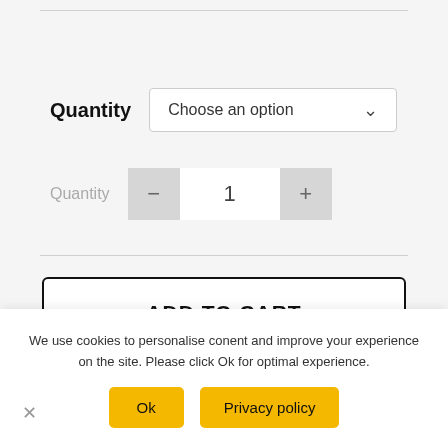Quantity — Choose an option (dropdown)
Quantity 1 (stepper control with - and + buttons)
ADD TO CART
We use cookies to personalise conent and improve your experience on the site. Please click Ok for optimal experience.
Ok
Privacy policy